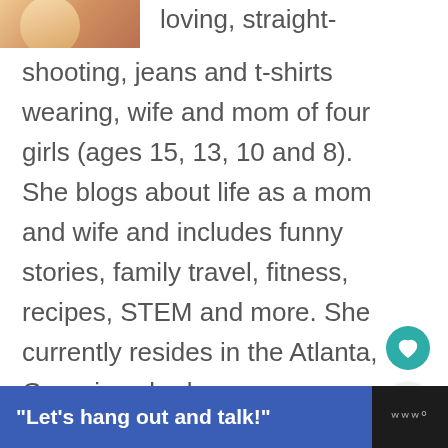[Figure (photo): Partial photo of a woman at top left corner]
loving, straight-shooting, jeans and t-shirts wearing, wife and mom of four girls (ages 15, 13, 10 and 8). She blogs about life as a mom and wife and includes funny stories, family travel, fitness, recipes, STEM and more. She currently resides in the Atlanta, Georgia suburbs.
krystyn@reallyareyouserious.com
WHAT'S NEXT → The 4 Stages of Baby...
Read More...
"Let's hang out and talk!"